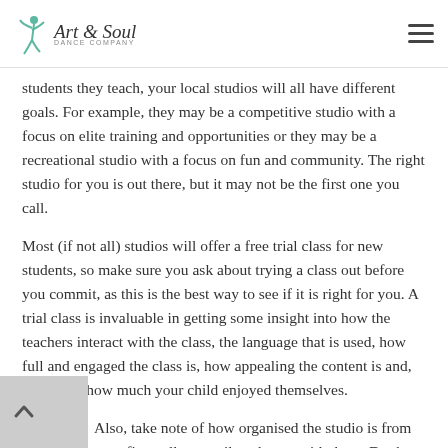Art & Soul Dance Company
students they teach, your local studios will all have different goals. For example, they may be a competitive studio with a focus on elite training and opportunities or they may be a recreational studio with a focus on fun and community. The right studio for you is out there, but it may not be the first one you call.
Most (if not all) studios will offer a free trial class for new students, so make sure you ask about trying a class out before you commit, as this is the best way to see if it is right for you. A trial class is invaluable in getting some insight into how the teachers interact with the class, the language that is used, how full and engaged the class is, how appealing the content is and, above all, how much your child enjoyed themselves.
Also, take note of how organised the studio is from your first call or email exchange with them. Do they have